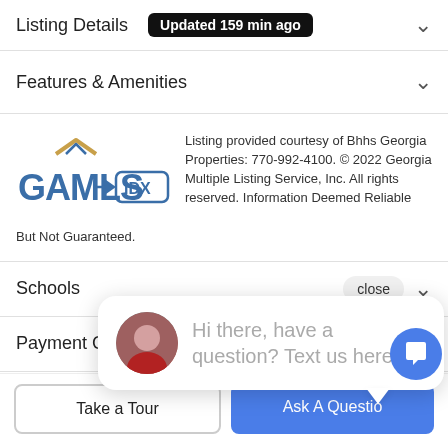Listing Details   Updated 159 min ago
Features & Amenities
[Figure (logo): GAMLS IDX logo — blue GAMLS text with gold roof icon and IDX badge with arrow]
Listing provided courtesy of Bhhs Georgia Properties: 770-992-4100. © 2022 Georgia Multiple Listing Service, Inc. All rights reserved. Information Deemed Reliable But Not Guaranteed.
Schools
Payment Calcula
Contact Agent
Hi there, have a question? Text us here.
Take a Tour
Ask A Questio